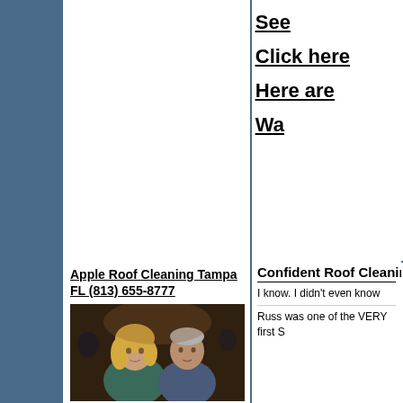See
Click here
Here are
Wa
Apple Roof Cleaning Tampa FL (813) 655-8777
[Figure (photo): A couple, a blonde woman and a grey-haired man, posing together indoors.]
Confident Roof Cleaning
I know. I didn't even know
Russ was one of the VERY first S